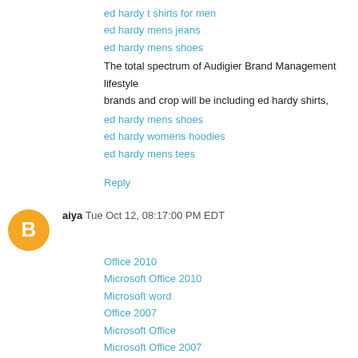ed hardy t shirts for men
ed hardy mens jeans
ed hardy mens shoes
The total spectrum of Audigier Brand Management lifestyle brands and crop will be including ed hardy shirts,
ed hardy mens shoes
ed hardy womens hoodies
ed hardy mens tees
Reply
aiya  Tue Oct 12, 08:17:00 PM EDT
Office 2010
Microsoft Office 2010
Microsoft word
Office 2007
Microsoft Office
Microsoft Office 2007
Office 2007 key
Office 2007 download
Office 2007 Professional